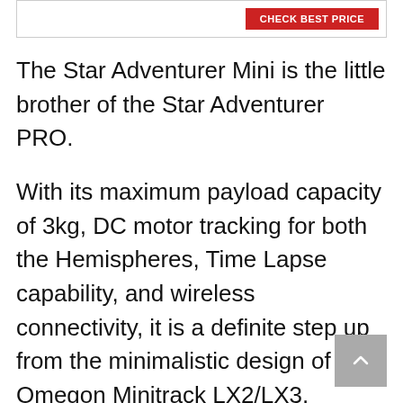[Figure (other): Top bar with a red button partially visible, likely a call-to-action button with text 'CHECK BEST PRICE' on a red background inside a bordered box.]
The Star Adventurer Mini is the little brother of the Star Adventurer PRO.
With its maximum payload capacity of 3kg, DC motor tracking for both the Hemispheres, Time Lapse capability, and wireless connectivity, it is a definite step up from the minimalistic design of the Omegon Minitrack LX2/LX3.